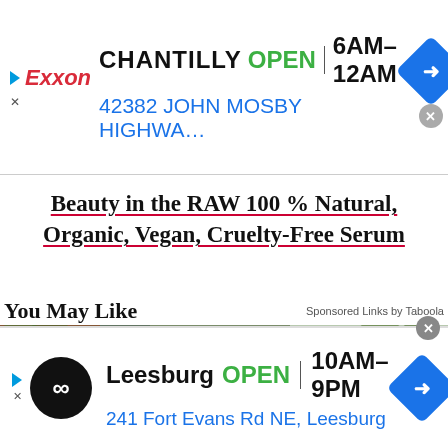[Figure (screenshot): Top advertisement banner for Exxon gas station in Chantilly, showing OPEN status, hours 6AM-12AM, address 42382 John Mosby Highwa...]
Beauty in the RAW 100 % Natural, Organic, Vegan, Cruelty-Free Serum
You May Like
Sponsored Links by Taboola
[Figure (photo): Man wearing a grey baseball cap working on a window, with brick and siding visible in background]
[Figure (screenshot): Bottom advertisement banner showing Leesburg location OPEN 10AM-9PM at 241 Fort Evans Rd NE, Leesburg with Infiniti logo]